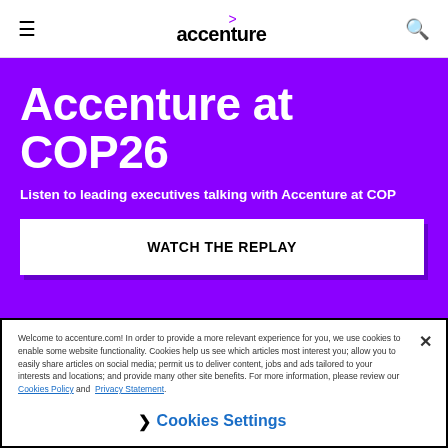accenture
Accenture at COP26
Listen to leading executives talking with Accenture at COP
WATCH THE REPLAY
Welcome to accenture.com! In order to provide a more relevant experience for you, we use cookies to enable some website functionality. Cookies help us see which articles most interest you; allow you to easily share articles on social media; permit us to deliver content, jobs and ads tailored to your interests and locations; and provide many other site benefits. For more information, please review our Cookies Policy and Privacy Statement.
Cookies Settings